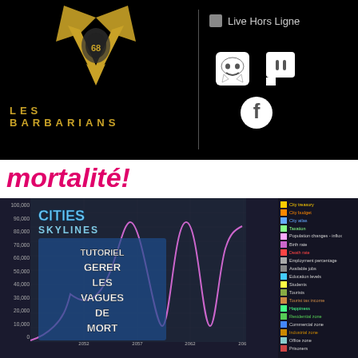[Figure (logo): Les Barbarians logo with golden horned mask emblem and golden art-deco styled text 'LES BARBARIANS' on black background. Alongside: Live Hors Ligne status, Discord, Twitch, and Facebook social icons.]
mortalité!
[Figure (screenshot): Cities Skylines game screenshot showing a population statistics chart with oscillating wave (death waves) in purple/violet. Y-axis shows values from 0 to 100,000. Text overlay reads 'TUTORIEL GERER LES VAGUES DE MORT'. Right panel shows legend: City treasury, City budget, City atlas, Taxation, Population changes - influx, Birth rate, Death rate, Employment percentage, Available jobs, Education levels, Students, Tourists, Tourist tax income, Happiness, Residential zone, Commercial zone, Industrial zone, Office zone, Prisoners. X-axis shows years: 2052, 2057, 2062, 2067.]